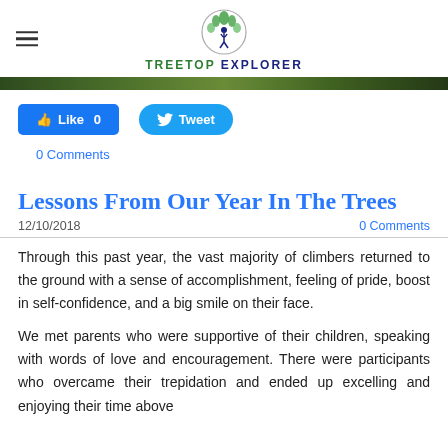TREETOP EXPLORER
[Figure (photo): Banner photo strip of trees/forest]
[Figure (other): Like 0 and Tweet social buttons]
0 Comments
Lessons From Our Year In The Trees
12/10/2018    0 Comments
Through this past year, the vast majority of climbers returned to the ground with a sense of accomplishment, feeling of pride, boost in self-confidence, and a big smile on their face.
We met parents who were supportive of their children, speaking with words of love and encouragement. There were participants who overcame their trepidation and ended up excelling and enjoying their time above